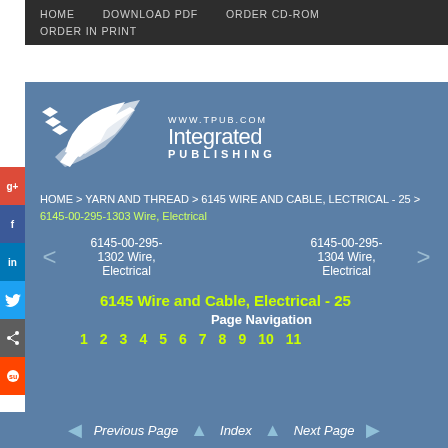HOME   DOWNLOAD PDF   ORDER CD-ROM   ORDER IN PRINT
[Figure (logo): Integrated Publishing logo with bird/plant design and text WWW.TPUB.COM Integrated PUBLISHING]
HOME > YARN AND THREAD > 6145 WIRE AND CABLE, ELECTRICAL - 25 > 6145-00-295-1303 Wire, Electrical
6145-00-295-1302 Wire, Electrical     6145-00-295-1304 Wire, Electrical
6145 Wire and Cable, Electrical - 25
Page Navigation
1 2 3 4 5 6 7 8 9 10 11
Previous Page   Index   Next Page